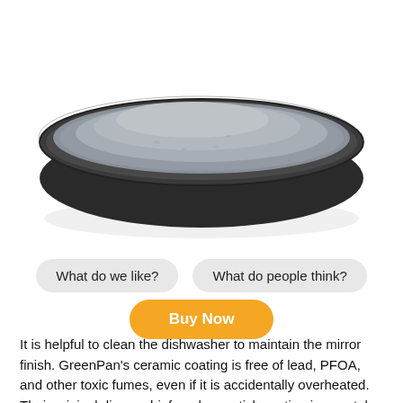[Figure (photo): A gray ceramic non-stick frying pan viewed from above and slightly to the side, showing the interior cooking surface with a smooth gray ceramic coating and a dark/black exterior rim.]
What do we like?
What do people think?
Buy Now
It is helpful to clean the dishwasher to maintain the mirror finish. GreenPan's ceramic coating is free of lead, PFOA, and other toxic fumes, even if it is accidentally overheated. Their original diamond-infused non-stick coating is a metal utensil safe. The